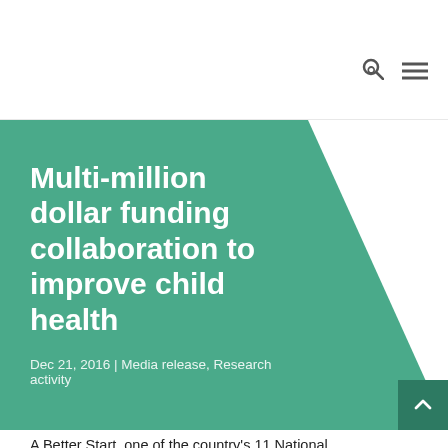Multi-million dollar funding collaboration to improve child health
Dec 21, 2016 | Media release, Research activity
A Better Start, one of the country's 11 National